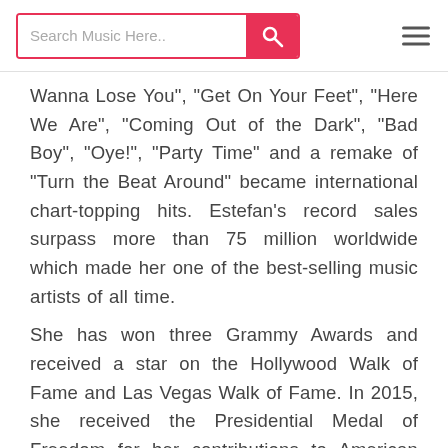Search Music Here..
Wanna Lose You", "Get On Your Feet", "Here We Are", "Coming Out of the Dark", "Bad Boy", "Oye!", "Party Time" and a remake of "Turn the Beat Around" became international chart-topping hits. Estefan's record sales surpass more than 75 million worldwide which made her one of the best-selling music artists of all time.
She has won three Grammy Awards and received a star on the Hollywood Walk of Fame and Las Vegas Walk of Fame. In 2015, she received the Presidential Medal of Freedom for her contributions to American music and received the Kennedy Center Honors in December 2017 for her contributions to American Culture Life. Estefan also won an MTV Video Music Award, was honored with the American Music Award for Lifetime Achievement, as well as being named